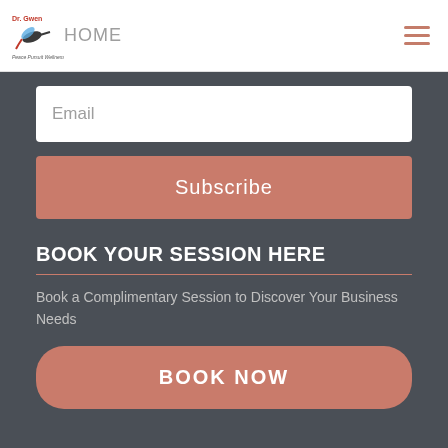Dr. Gwen — Navigation header with logo and hamburger menu
Email
Subscribe
BOOK YOUR SESSION HERE
Book a Complimentary Session to Discover Your Business Needs
BOOK NOW